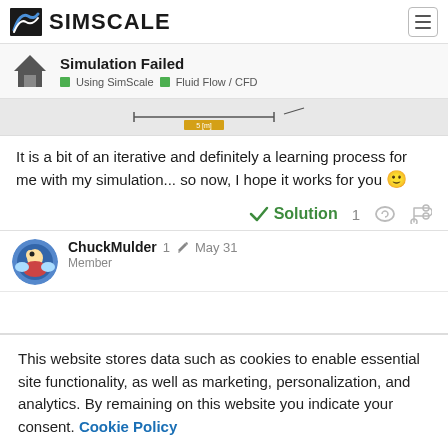SIMSCALE
Simulation Failed — Using SimScale | Fluid Flow / CFD
[Figure (screenshot): Partial screenshot of a simulation image with a scale bar labeled '5 [m]']
It is a bit of an iterative and definitely a learning process for me with my simulation... so now, I hope it works for you 🙂
✔ Solution  1
ChuckMulder  Member  1  May 31
This website stores data such as cookies to enable essential site functionality, as well as marketing, personalization, and analytics. By remaining on this website you indicate your consent. Cookie Policy